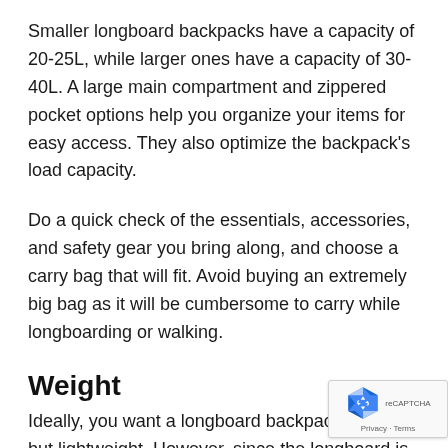Smaller longboard backpacks have a capacity of 20-25L, while larger ones have a capacity of 30-40L. A large main compartment and zippered pocket options help you organize your items for easy access. They also optimize the backpack's load capacity.
Do a quick check of the essentials, accessories, and safety gear you bring along, and choose a carry bag that will fit. Avoid buying an extremely big bag as it will be cumbersome to carry while longboarding or walking.
Weight
Ideally, you want a longboard backpack that is s… but lightweight. However, since the longboard is…